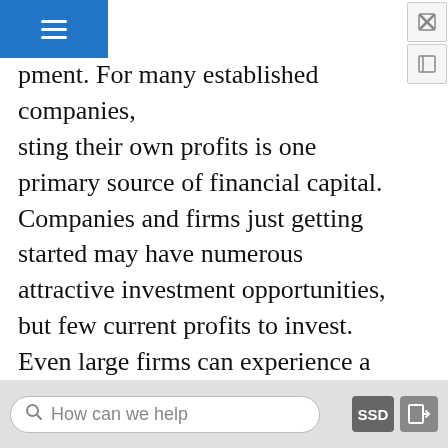pment. For many established companies, sting their own profits is one primary source of financial capital. Companies and firms just getting started may have numerous attractive investment opportunities, but few current profits to invest. Even large firms can experience a year or two of earning low profits or even suffering losses, but unless the firm can find a steady and reliable financial capital source so that it can continue making real investments in tough times, the firm may not survive until better times arrive. Firms often need to find financial capital sources other than profits.
Borrowing: Banks and Bonds
When a firm has a record of at least earning significant